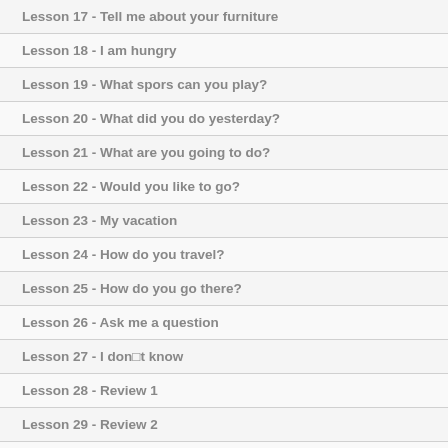Lesson 17 - Tell me about your furniture
Lesson 18 - I am hungry
Lesson 19 - What spors can you play?
Lesson 20 - What did you do yesterday?
Lesson 21 - What are you going to do?
Lesson 22 - Would you like to go?
Lesson 23 - My vacation
Lesson 24 - How do you travel?
Lesson 25 - How do you go there?
Lesson 26 - Ask me a question
Lesson 27 - I don□t know
Lesson 28 - Review 1
Lesson 29 - Review 2
Lesson 30 - Review 3
Lesson 1 - Welcome
Lesson 2 - Special Days
Lesson 3 - Entertaining